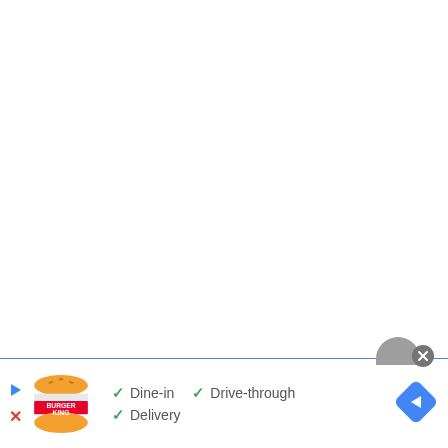[Figure (screenshot): White blank area representing a map or web page content area above an advertisement banner]
[Figure (logo): Burger King advertisement bar at bottom with logo, checkmarks for Dine-in, Drive-through, Delivery, and a blue directions diamond icon]